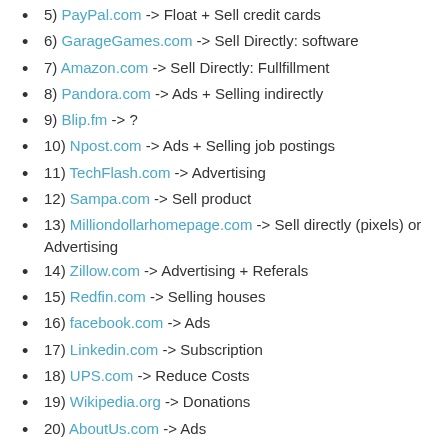5) PayPal.com -> Float + Sell credit cards
6) GarageGames.com -> Sell Directly: software
7) Amazon.com -> Sell Directly: Fullfillment
8) Pandora.com -> Ads + Selling indirectly
9) Blip.fm -> ?
10) Npost.com -> Ads + Selling job postings
11) TechFlash.com -> Advertising
12) Sampa.com -> Sell product
13) Milliondollarhomepage.com -> Sell directly (pixels) or Advertising
14) Zillow.com -> Advertising + Referals
15) Redfin.com -> Selling houses
16) facebook.com -> Ads
17) Linkedin.com -> Subscription
18) UPS.com -> Reduce Costs
19) Wikipedia.org -> Donations
20) AboutUs.com -> Ads